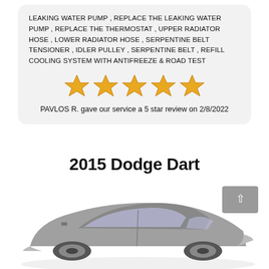LEAKING WATER PUMP , REPLACE THE LEAKING WATER PUMP , REPLACE THE THERMOSTAT , UPPER RADIATOR HOSE , LOWER RADIATOR HOSE , SERPENTINE BELT TENSIONER , IDLER PULLEY , SERPENTINE BELT , REFILL COOLING SYSTEM WITH ANTIFREEZE & ROAD TEST
[Figure (other): Five gold stars rating illustration]
PAVLOS R. gave our service a 5 star review on 2/8/2022
2015 Dodge Dart
[Figure (photo): Photo of a gray 2015 Dodge Dart sedan, partial view showing the front and side of the car on a white background]